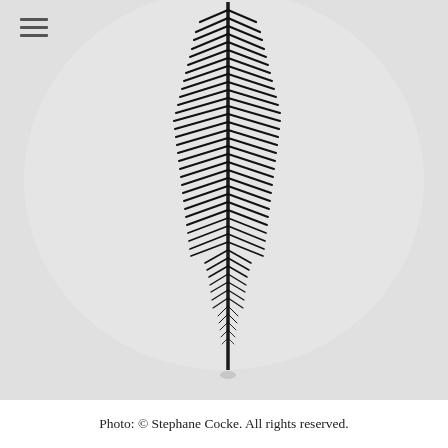[Figure (photo): Black and white photograph of a single tall slender plant or fern-like stem with feathery leaves extending symmetrically from a central dark stem, photographed against a plain light grey/white background. The plant is positioned slightly right of center, extending from near the top of the image to the bottom center.]
Photo: © Stephane Cocke. All rights reserved.